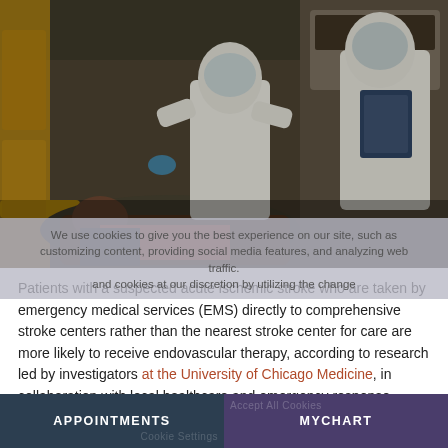[Figure (photo): Two medical workers in white PPE suits and face shields attending to a patient lying on a stretcher inside an ambulance. One worker is administering care to the patient while the other holds a clipboard or tablet. The ambulance interior shows yellow equipment panels.]
We use cookies to give you the best experience on our site, such as customizing content, providing social media features, and analyzing web traffic. and cookies at our discretion by utilizing the change
Patients with a suspected acute ischemic stroke who are taken by emergency medical services (EMS) directly to comprehensive stroke centers rather than the nearest stroke center for care are more likely to receive endovascular therapy, according to research led by investigators at the University of Chicago Medicine, in collaboration with local healthcare and emergency response groups.
APPOINTMENTS   MYCHART